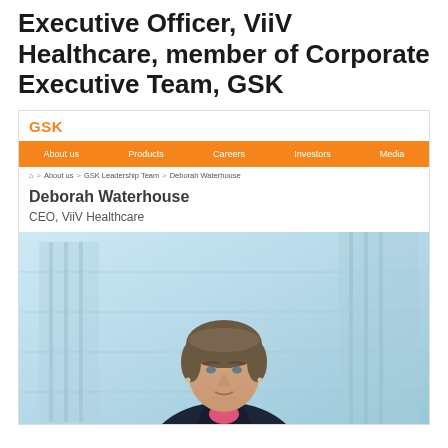Executive Officer, ViiV Healthcare, member of Corporate Executive Team, GSK
[Figure (screenshot): Screenshot of GSK website showing Deborah Waterhouse profile page with navigation bar, breadcrumb trail, name, title CEO ViiV Healthcare, and a professional portrait photograph of the person against a light blue architectural background]
Deborah Waterhouse
CEO, ViiV Healthcare